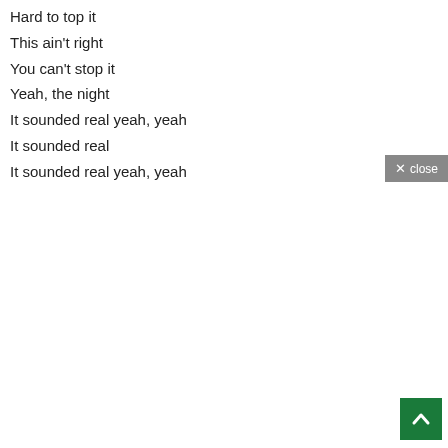Hard to top it
This ain't right
You can't stop it
Yeah, the night
It sounded real yeah, yeah
It sounded real
It sounded real yeah, yeah
[Figure (other): A grey close button with an X icon and the text 'close']
[Figure (other): A dark green scroll-to-top button with a white upward-pointing chevron/arrow]